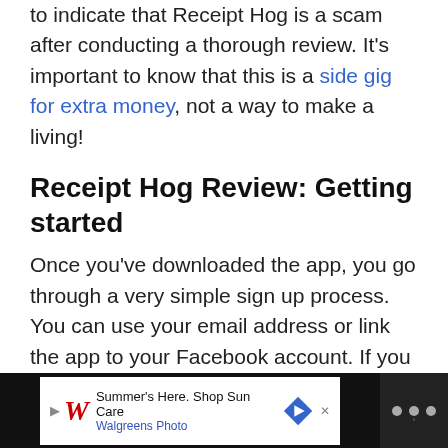to indicate that Receipt Hog is a scam after conducting a thorough review. It's important to know that this is a side gig for extra money, not a way to make a living!
Receipt Hog Review: Getting started
Once you've downloaded the app, you go through a very simple sign up process. You can use your email address or link the app to your Facebook account. If you choose to use your email address. you then just need to input your birthday and gender.
[Figure (other): Walgreens advertisement banner: Summer's Here. Shop Sun Care - Walgreens Photo, with navigation arrow icon and media player controls on dark background]